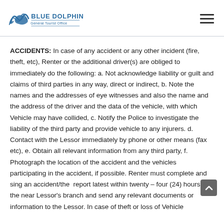BLUE DOLPHIN General Tourist Office
ACCIDENTS: In case of any accident or any other incident (fire, theft, etc), Renter or the additional driver(s) are obliged to immediately do the following: a. Not acknowledge liability or guilt and claims of third parties in any way, direct or indirect, b. Note the names and the addresses of eye witnesses and also the name and the address of the driver and the data of the vehicle, with which Vehicle may have collided, c. Notify the Police to investigate the liability of the third party and provide vehicle to any injurers. d. Contact with the Lessor immediately by phone or other means (fax etc), e. Obtain all relevant information from any third party, f. Photograph the location of the accident and the vehicles participating in the accident, if possible. Renter must complete and sing an accident/the report latest within twenty – four (24) hours at the near Lessor's branch and send any relevant documents or information to the Lessor. In case of theft or loss of Vehicle